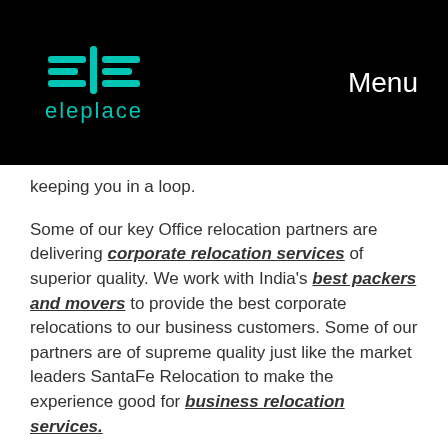eleplace | Menu
keeping you in a loop.
Some of our key Office relocation partners are delivering corporate relocation services of superior quality. We work with India's best packers and movers to provide the best corporate relocations to our business customers. Some of our partners are of supreme quality just like the market leaders SantaFe Relocation to make the experience good for business relocation services.
Some of our partners are in the league of Rising Star Packers and Movers, Maxwell Relocations, Agarwal Packers and Movers Limited (only original), Maple Packers and Movers, Professional Packers and Movers, and other reputed and established packers and movers of